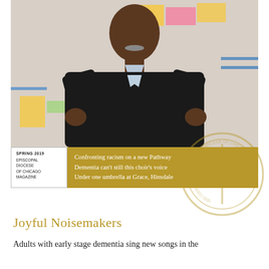[Figure (photo): A man in a black sweater gesturing with both hands in front of a whiteboard covered with colorful sticky notes and diagrams.]
SPRING 2019
EPISCOPAL DIOCESE OF CHICAGO MAGAZINE
Confronting racism on a new Pathway
Dementia can't still this choir's voice
Under one umbrella at Grace, Hinsdale
Joyful Noisemakers
Adults with early stage dementia sing new songs in the